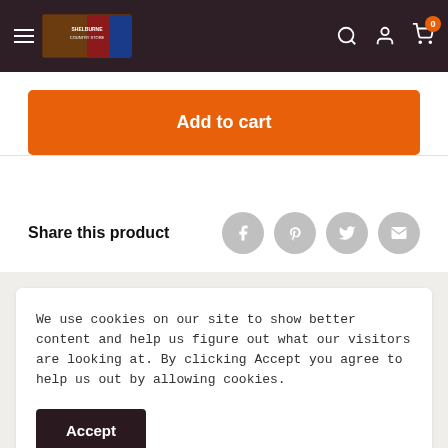Shelburne Country Store navigation header with logo, search, account, and cart icons
Add to cart
Share this product
We use cookies on our site to show better content and help us figure out what our visitors are looking at. By clicking Accept you agree to help us out by allowing cookies.
Accept
copper bowl